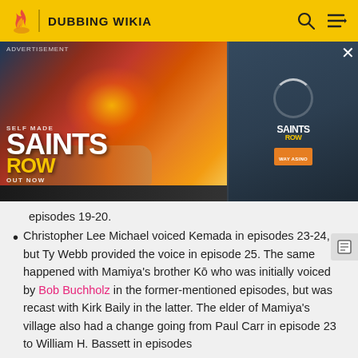DUBBING WIKIA
[Figure (photo): Saints Row video game advertisement banner showing action scene with cars and characters. Text reads: SELF MADE, SAINTS ROW, OUT NOW. Smaller inset shows Saints Row logo with character.]
episodes 19-20.
Christopher Lee Michael voiced Kemada in episodes 23-24, but Ty Webb provided the voice in episode 25. The same happened with Mamiya's brother Kō who was initially voiced by Bob Buchholz in the former-mentioned episodes, but was recast with Kirk Baily in the latter. The elder of Mamiya's village also had a change going from Paul Carr in episode 23 to William H. Bassett in episodes